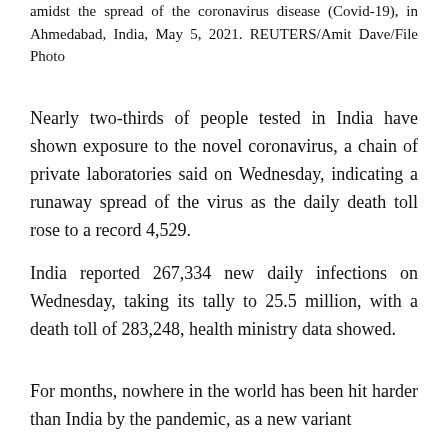amidst the spread of the coronavirus disease (Covid-19), in Ahmedabad, India, May 5, 2021. REUTERS/Amit Dave/File Photo
Nearly two-thirds of people tested in India have shown exposure to the novel coronavirus, a chain of private laboratories said on Wednesday, indicating a runaway spread of the virus as the daily death toll rose to a record 4,529.
India reported 267,334 new daily infections on Wednesday, taking its tally to 25.5 million, with a death toll of 283,248, health ministry data showed.
For months, nowhere in the world has been hit harder than India by the pandemic, as a new variant